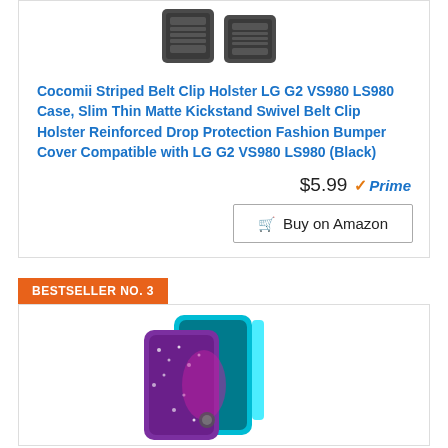[Figure (photo): Product photo of black belt clip holster phone case, shown from two angles]
Cocomii Striped Belt Clip Holster LG G2 VS980 LS980 Case, Slim Thin Matte Kickstand Swivel Belt Clip Holster Reinforced Drop Protection Fashion Bumper Cover Compatible with LG G2 VS980 LS980 (Black)
$5.99 ✓Prime
Buy on Amazon
BESTSELLER NO. 3
[Figure (photo): Product photo of teal/purple glitter phone case with kickstand ring for LG G2]